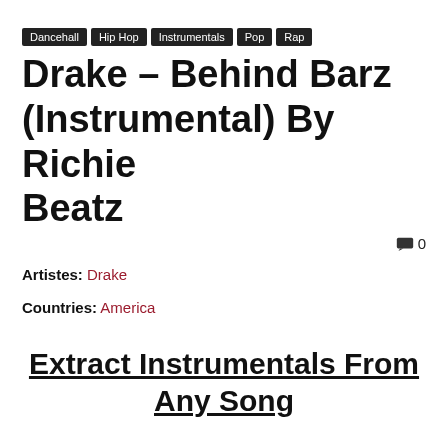Dancehall Hip Hop Instrumentals Pop Rap
Drake – Behind Barz (Instrumental) By Richie Beatz
🗨 0
Artistes: Drake
Countries: America
Extract Instrumentals From Any Song